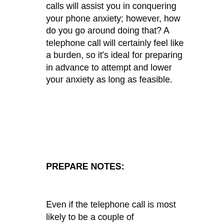calls will assist you in conquering your phone anxiety; however, how do you go around doing that? A telephone call will certainly feel like a burden, so it's ideal for preparing in advance to attempt and lower your anxiety as long as feasible.
PREPARE NOTES:
Even if the telephone call is most likely to be a couple of